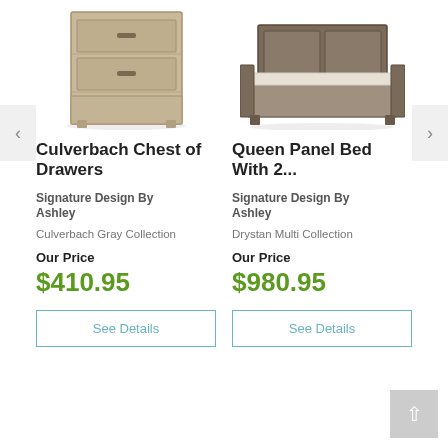[Figure (photo): Culverbach chest of drawers furniture photo - light wood grain 3-drawer chest]
Culverbach Chest of Drawers
Signature Design By Ashley
Culverbach Gray Collection
Our Price
$410.95
[Figure (photo): Queen Panel Bed With 2 storage drawers - dark wood grain platform bed with nightstands]
Queen Panel Bed With 2...
Signature Design By Ashley
Drystan Multi Collection
Our Price
$980.95